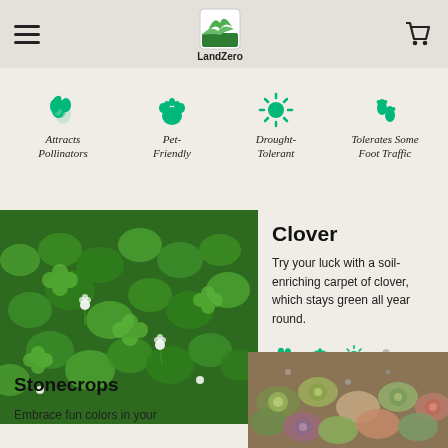LandZero - navigation header with hamburger menu and cart icon
[Figure (infographic): Four feature icons: Attracts Pollinators (bee/flower icon), Pet-Friendly (paw icon), Drought-Tolerant (sun icon), Tolerates Some Foot Traffic (footprints icon), all in green]
[Figure (photo): Close-up photo of clover ground cover with small white flowers]
Clover
Try your luck with a soil-enriching carpet of clover, which stays green all year round.
[Figure (infographic): Four small feature icons for Clover: pollinator (green), pet-friendly (green), drought-tolerant (green), foot traffic (grey/faded)]
[Figure (photo): Photo of colorful stonecrops ground cover with succulent foliage in greens, purples and pinks]
Stonecrops
Embrace fun colors in your